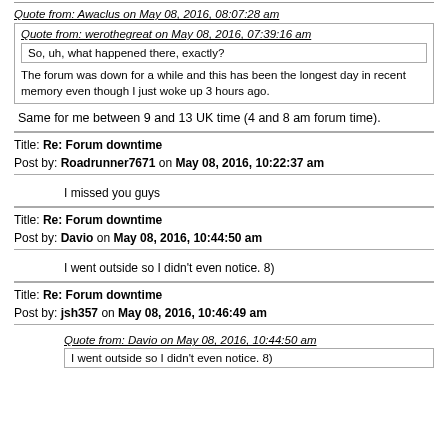Quote from: Awaclus on May 08, 2016, 08:07:28 am
Quote from: werothegreat on May 08, 2016, 07:39:16 am
So, uh, what happened there, exactly?
The forum was down for a while and this has been the longest day in recent memory even though I just woke up 3 hours ago.
Same for me between 9 and 13 UK time (4 and 8 am forum time).
Title: Re: Forum downtime
Post by: Roadrunner7671 on May 08, 2016, 10:22:37 am
I missed you guys
Title: Re: Forum downtime
Post by: Davio on May 08, 2016, 10:44:50 am
I went outside so I didn't even notice. 8)
Title: Re: Forum downtime
Post by: jsh357 on May 08, 2016, 10:46:49 am
Quote from: Davio on May 08, 2016, 10:44:50 am
I went outside so I didn't even notice. 8)